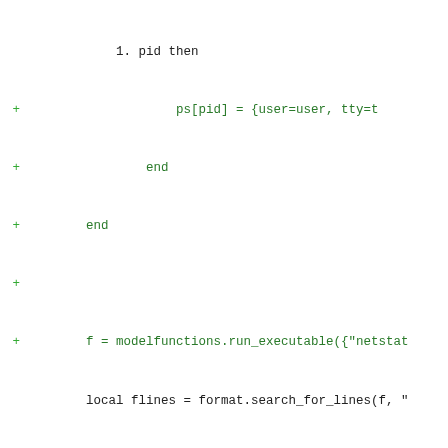[Figure (screenshot): A code diff view showing Lua source code with added lines (green, marked with +) and removed lines (red, marked with -). The code involves modelfunctions.run_executable, format.search_for_lines, string.match, netstat, and ps[pid] operations.]